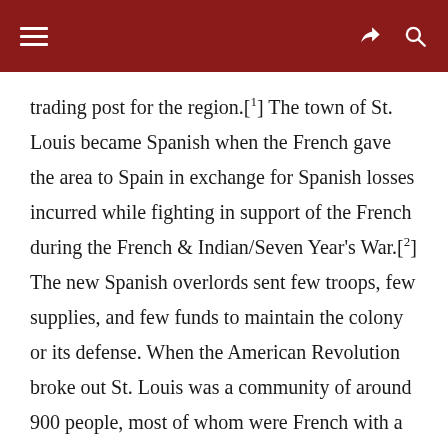trading post for the region.[1] The town of St. Louis became Spanish when the French gave the area to Spain in exchange for Spanish losses incurred while fighting in support of the French during the French & Indian/Seven Year's War.[2] The new Spanish overlords sent few troops, few supplies, and few funds to maintain the colony or its defense. When the American Revolution broke out St. Louis was a community of around 900 people, most of whom were French with a few Spanish soldiers. They were greatly outnumbered by various Native American tribes which the traders had been supplying with firearms in exchange for furs. This act caused strife many miles away as these tribes used those firearms to invade the territories of other tribes, two of them being the Sioux and Winnebago in the modern regions of